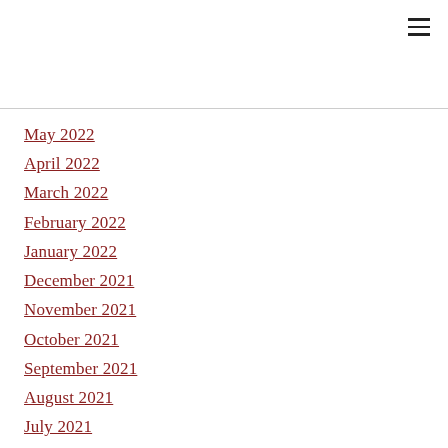May 2022
April 2022
March 2022
February 2022
January 2022
December 2021
November 2021
October 2021
September 2021
August 2021
July 2021
June 2021
May 2021
April 2021
March 2021
February 2021